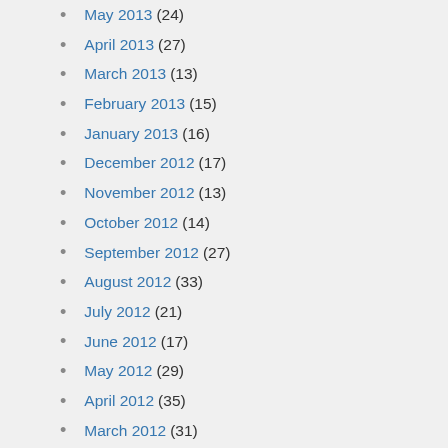May 2013 (24)
April 2013 (27)
March 2013 (13)
February 2013 (15)
January 2013 (16)
December 2012 (17)
November 2012 (13)
October 2012 (14)
September 2012 (27)
August 2012 (33)
July 2012 (21)
June 2012 (17)
May 2012 (29)
April 2012 (35)
March 2012 (31)
February 2012 (24)
January 2012 (22)
December 2011 (19)